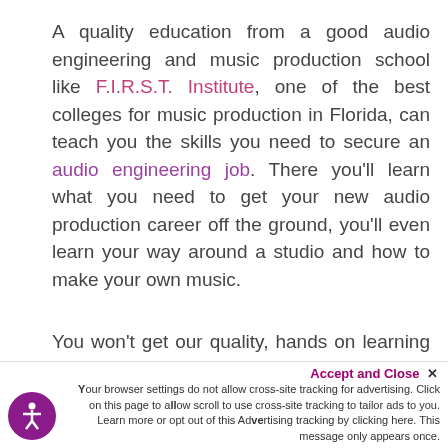A quality education from a good audio engineering and music production school like F.I.R.S.T. Institute, one of the best colleges for music production in Florida, can teach you the skills you need to secure an audio engineering job. There you'll learn what you need to get your new audio production career off the ground, you'll even learn your way around a studio and how to make your own music.
You won't get our quality, hands on learning experience with passionate audio industry professionals anywhere else. Check out the
Accept and Close × Your browser settings do not allow cross-site tracking for advertising. Click on this page to allow scroll to use cross-site tracking to tailor ads to you. Learn more or opt out of this Advertising tracking by clicking here. This message only appears once.